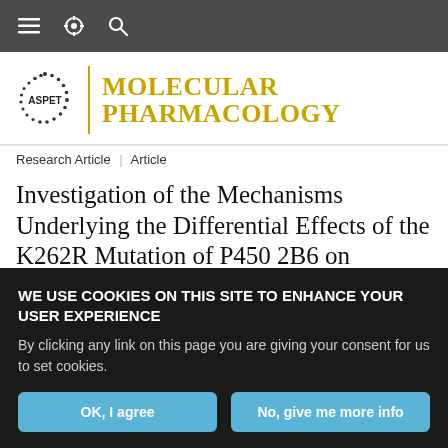≡ ⚙ 🔍
[Figure (logo): ASPET | Molecular Pharmacology journal logo with ASPET circular dotted emblem on left, golden vertical divider, and 'Molecular Pharmacology' in gold serif uppercase text]
Research Article | Article
Investigation of the Mechanisms Underlying the Differential Effects of the K262R Mutation of P450 2B6 on
WE USE COOKIES ON THIS SITE TO ENHANCE YOUR USER EXPERIENCE
By clicking any link on this page you are giving your consent for us to set cookies.
OK, I agree
No, give me more info